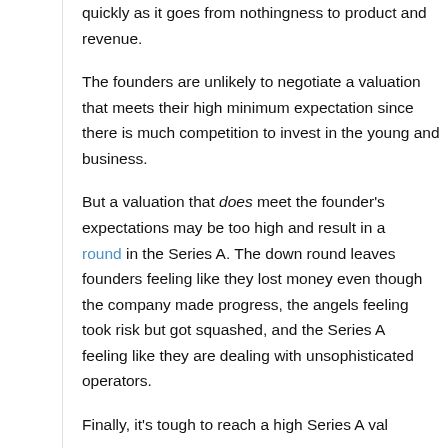quickly as it goes from nothingness to product and revenue.
The founders are unlikely to negotiate a valuation that meets their high minimum expectation since there is much competition to invest in the young and unproven business.
But a valuation that does meet the founder's expectations may be too high and result in a down round in the Series A. The down round leaves founders feeling like they lost money even though the company made progress, the angels feeling like they took risk but got squashed, and the Series A feeling like they are dealing with unsophisticated operators.
Finally, it's tough to reach a high Series A val...